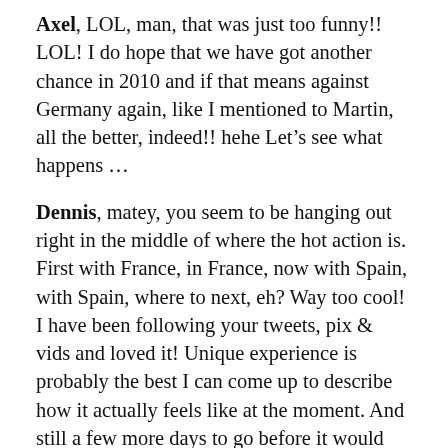Axel, LOL, man, that was just too funny!! LOL! I do hope that we have got another chance in 2010 and if that means against Germany again, like I mentioned to Martin, all the better, indeed!! hehe Let’s see what happens …
Dennis, matey, you seem to be hanging out right in the middle of where the hot action is. First with France, in France, now with Spain, with Spain, where to next, eh? Way too cool! I have been following your tweets, pix & vids and loved it! Unique experience is probably the best I can come up to describe how it actually feels like at the moment. And still a few more days to go before it would settle in!
Thanks again everyone for their contributions! (Too funny that this blog post, that hasn’t got anything to do with the main subjects of